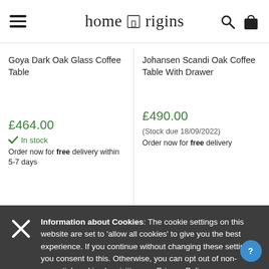home origins
Goya Dark Oak Glass Coffee Table
£464.00
In stock
Order now for free delivery within 5-7 days
Johansen Scandi Oak Coffee Table With Drawer
£490.00
(Stock due 18/09/2022)
Order now for free delivery
Information about Cookies: The cookie settings on this website are set to 'allow all cookies' to give you the best experience. If you continue without changing these settings, you consent to this. Otherwise, you can opt out of non-essential cookies by visiting our Privacy Policy page.